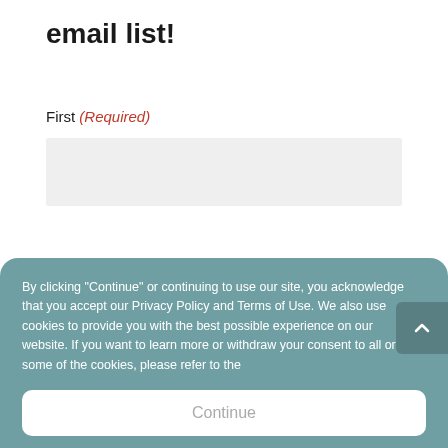email list!
First (Required)
[Figure (screenshot): Text input field with light gray background]
By clicking "Continue" or continuing to use our site, you acknowledge that you accept our Privacy Policy and Terms of Use. We also use cookies to provide you with the best possible experience on our website. If you want to learn more or withdraw your consent to all or some of the cookies, please refer to the
Continue